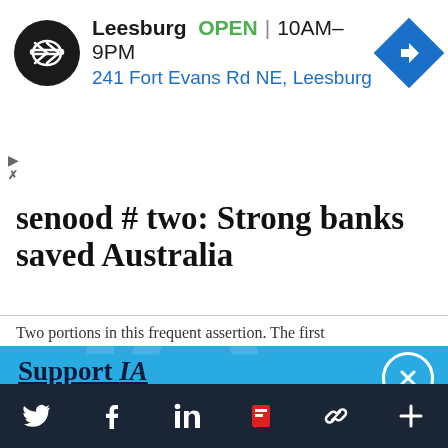[Figure (screenshot): Advertisement banner for a store in Leesburg showing logo, open status, hours 10AM-9PM, address 241 Fort Evans Rd NE Leesburg, and a navigation icon]
Falsehood # two: Strong banks saved Australia
Two portions in this frequent assertion. The first
Support IA
Subscribe to IA and investigate Australia today.
Close   Subscribe   Donate
[Figure (other): Footer bar with social sharing icons: Twitter, Facebook, LinkedIn, Flipboard, chain link, plus]